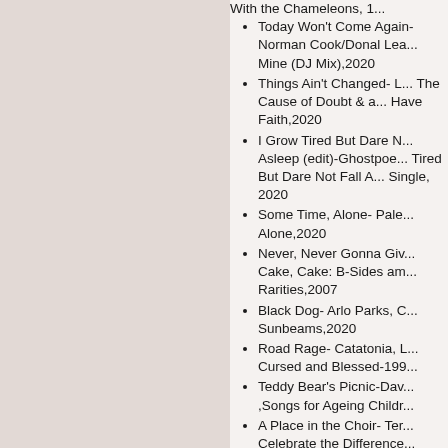With the Chameleons, 1...
Today Won't Come Again- Norman Cook/Donal Lea... Mine (DJ Mix),2020
Things Ain't Changed- L... The Cause of Doubt & a... Have Faith,2020
I Grow Tired But Dare N... Asleep (edit)-Ghostpoe... Tired But Dare Not Fall A... Single, 2020
Some Time, Alone- Pale... Alone,2020
Never, Never Gonna Giv... Cake, Cake: B-Sides am... Rarities,2007
Black Dog- Arlo Parks, C... Sunbeams,2020
Road Rage- Catatonia, L... Cursed and Blessed-199...
Teddy Bear's Picnic-Dav... ,Songs for Ageing Childr...
A Place in the Choir- Ter... Celebrate the Difference...
La musique- Star Femin...